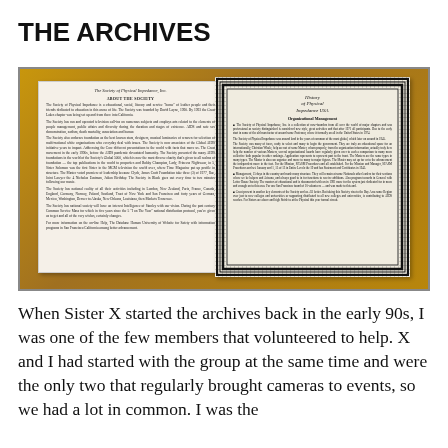THE ARCHIVES
[Figure (photo): A photograph of an open booklet or pamphlet lying on a wooden surface. The left page shows text titled 'The Society of Physical Impedance' with sections including 'About the Society'. The right page has a decorative border and appears to show 'History of Physical Impedance USA, Organizational Management' with bullet-pointed text.]
When Sister X started the archives back in the early 90s, I was one of the few members that volunteered to help. X and I had started with the group at the same time and were the only two that regularly brought cameras to events, so we had a lot in common. I was the